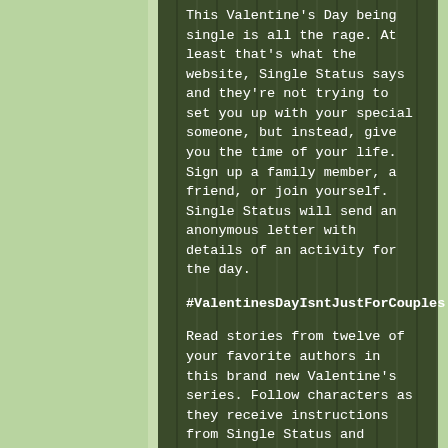This Valentine's Day being single is all the rage. At least that's what the website, Single Status says and they're not trying to set you up with your special someone, but instead, give you the time of your life. Sign up a family member, a friend, or join yourself. Single Status will send an anonymous letter with details of an activity for the day.
#ValentinesDayIsntJustForCouples.
Read stories from twelve of your favorite authors in this brand new Valentine's series. Follow characters as they receive instructions from Single Status and navigate their love lives in tales of varying degrees of romantic heat.
Grab one a day from February 1-12th. Each book is a standalone with a separate release and FEATURES THE FOLLOWING AUTHORS:
K. G. Reuss
Bella Emy
C. A. King